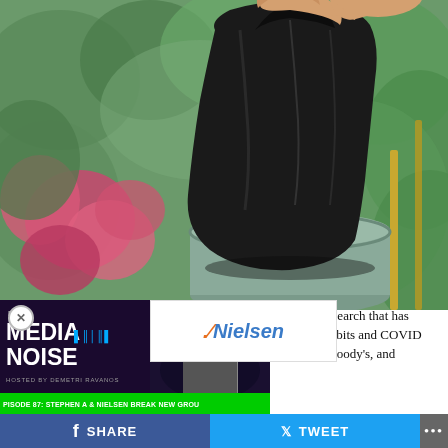[Figure (photo): Person holding a large black trash bag over a green trash can, with flowering bushes and greenery in the background]
[Figure (screenshot): BSM Media Noise podcast overlay with episode title 'Episode 87: Stephen A & Nielsen Break New Ground', hosted by Demetri Ravanos, with Nielsen logo]
…ed some research that has listening habits and COVID , Edison, Moody's, and others are studying how listeners have returned to listening to the radio, where they are listening, miles
SHARE   TWEET   ...